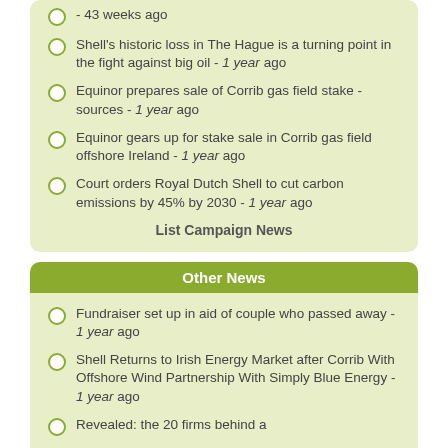- 43 weeks ago
Shell's historic loss in The Hague is a turning point in the fight against big oil - 1 year ago
Equinor prepares sale of Corrib gas field stake -sources - 1 year ago
Equinor gears up for stake sale in Corrib gas field offshore Ireland - 1 year ago
Court orders Royal Dutch Shell to cut carbon emissions by 45% by 2030 - 1 year ago
List Campaign News
Other News
Fundraiser set up in aid of couple who passed away - 1 year ago
Shell Returns to Irish Energy Market after Corrib With Offshore Wind Partnership With Simply Blue Energy - 1 year ago
Revealed: the 20 firms behind a ...